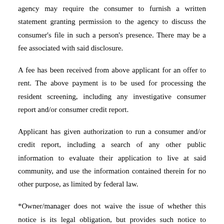agency may require the consumer to furnish a written statement granting permission to the agency to discuss the consumer's file in such a person's presence. There may be a fee associated with said disclosure.
A fee has been received from above applicant for an offer to rent. The above payment is to be used for processing the resident screening, including any investigative consumer report and/or consumer credit report.
Applicant has given authorization to run a consumer and/or credit report, including a search of any other public information to evaluate their application to live at said community, and use the information contained therein for no other purpose, as limited by federal law.
*Owner/manager does not waive the issue of whether this notice is its legal obligation, but provides such notice to protect the legal right, if any, of the consumer hereto.
Making a payment is the final step and doing so is your confirmation and